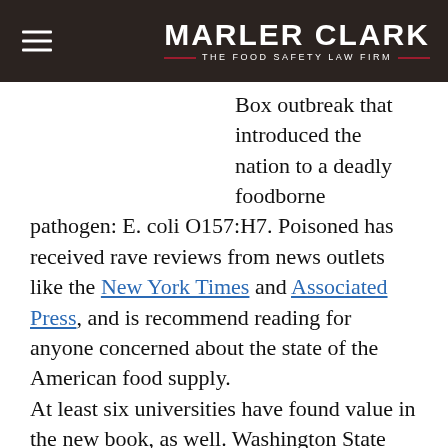MARLER CLARK — THE FOOD SAFETY LAW FIRM
Box outbreak that introduced the nation to a deadly foodborne pathogen: E. coli O157:H7. Poisoned has received rave reviews from news outlets like the New York Times and Associated Press, and is recommend reading for anyone concerned about the state of the American food supply.
At least six universities have found value in the new book, as well. Washington State University, Seattle University, Northeastern University, the New England School of Law, Brigham Young University-Idaho, and the Arkansas School of Law all plan to use the Poisoned in one of their courses for the 2011-2012 school year.